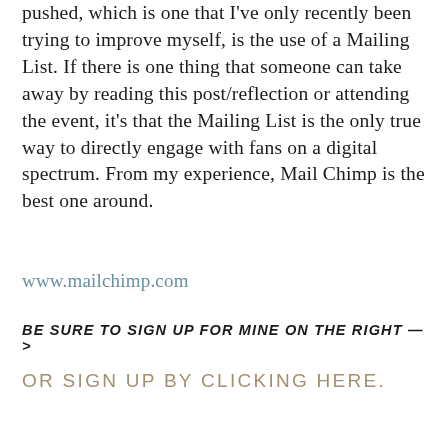pushed, which is one that I've only recently been trying to improve myself, is the use of a Mailing List. If there is one thing that someone can take away by reading this post/reflection or attending the event, it's that the Mailing List is the only true way to directly engage with fans on a digital spectrum. From my experience, Mail Chimp is the best one around.
www.mailchimp.com
BE SURE TO SIGN UP FOR MINE ON THE RIGHT —>
OR SIGN UP BY CLICKING HERE.